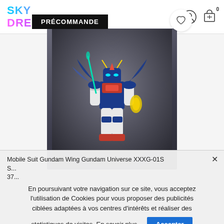SKY DREAMER
[Figure (photo): Product photo of Mobile Suit Gundam Wing Gundam Universe XXXG-01S action figure on dark gradient background, with PRÉCOMMANDE badge and wishlist heart button]
Mobile Suit Gundam Wing Gundam Universe XXXG-01S
S...
37...
En poursuivant votre navigation sur ce site, vous acceptez l'utilisation de Cookies pour vous proposer des publicités ciblées adaptées à vos centres d'intérêts et réaliser des statistiques de visites. En savoir plus. Accepter